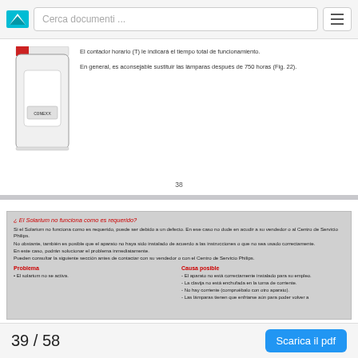Cerca documenti ...
[Figure (illustration): Drawing of a tanning device/solarium with a digital display showing 'CONEXX' and a red corner indicator]
El contador horario (T) le indicará el tiempo total de funcionamiento.

En general, es aconsejable sustituir las lámparas después de 750 horas (Fig. 22).
38
¿ El Solarium no funciona como es requerido?
Si el Solarium no funciona como es requerido, puede ser debido a un defecto. En ese caso no dude en acudir a su vendedor o al Centro de Servicio Philips.
No obstante, también es posible que el aparato no haya sido instalado de acuerdo a las instrucciones o que no sea usado correctamente.
En este caso, podrán solucionar el problema inmediatamente.
Pueden consultar la siguiente sección antes de contactar con su vendedor o con el Centro de Servicio Philips.
| Problema | Causa posible |
| --- | --- |
| • El solarium no se activa. | - El aparato no está correctamente instalado para su empleo.
- La clavija no está enchufada en la toma de corriente.
- No hay corriente (compruébalo con otro aparato).
- Las lámparas tienen que enfriarse aún para poder volver a |
39 / 58
Scarica il pdf